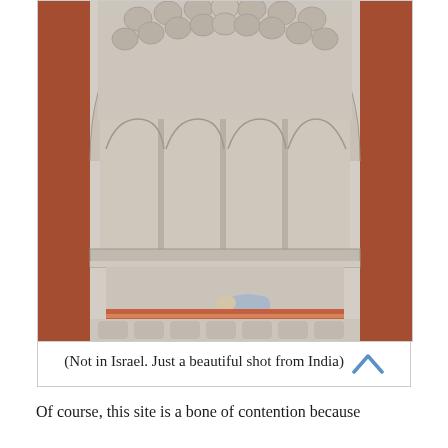[Figure (photo): A person prostrating in prayer inside an ornate mosque or historic Indian monument interior, featuring a large arched niche (mihrab) with elaborate marble carvings, decorative panels, and terracotta/red sandstone columns on either side. A striped red prayer rug covers the floor.]
(Not in Israel. Just a beautiful shot from India)
Of course, this site is a bone of contention because